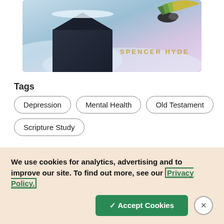[Figure (illustration): Book cover showing a dark winter scene with a bird perched on a snowy surface, colorful abstract background, with text 'SPENCER HYDE' in gold lettering]
Tags
Depression
Mental Health
Old Testament
Scripture Study
We use cookies for analytics, advertising and to improve our site. To find out more, see our Privacy Policy.